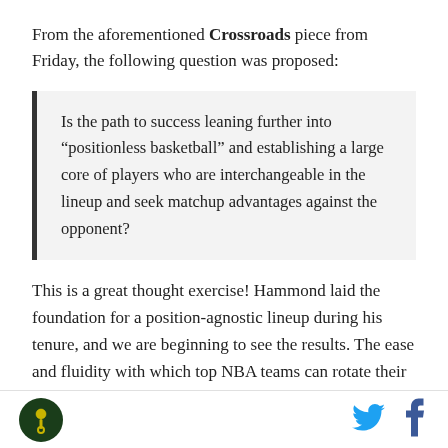From the aforementioned Crossroads piece from Friday, the following question was proposed:
Is the path to success leaning further into “positionless basketball” and establishing a large core of players who are interchangeable in the lineup and seek matchup advantages against the opponent?
This is a great thought exercise! Hammond laid the foundation for a position-agnostic lineup during his tenure, and we are beginning to see the results. The ease and fluidity with which top NBA teams can rotate their lineups has been sweeping the league the past
[Figure (logo): Circular logo with green background and yellow/gold icon]
[Figure (logo): Twitter bird icon in blue]
[Figure (logo): Facebook f icon in blue]